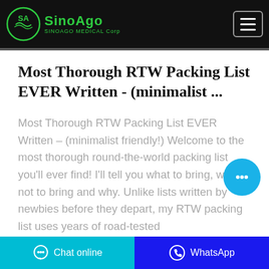SINOAGO MEDICAL Corp
Most Thorough RTW Packing List EVER Written - (minimalist ...
Most Thorough RTW Packing List EVER Written – (minimalist friendly!) Welcome to the most thorough round-the-world packing list you'll ever find! I'll tell you what to bring, what not to bring and why. Unlike lists written by newbies before they depart, my RTW packing list uses years of road-tested
Chat online | WhatsApp